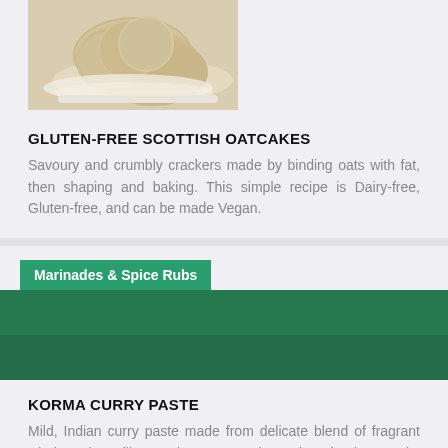[Figure (photo): Photo of gluten-free Scottish oatcakes stacked on a white plate with crumbs]
GLUTEN-FREE SCOTTISH OATCAKES
Savoury and crumbly crackers made by binding oats with fat, then shaping and baking. This simple recipe is Dairy-free, Gluten-free, and can be made Vegan.
Marinades & Spice Rubs
[Figure (photo): Dark green background image for Korma Curry Paste recipe card]
KORMA CURRY PASTE
Mild, Indian curry paste made from delicate blend of fragrant whole spices like cardamom, cumin and coriander seeds, pureed fresh aromatics and cashew